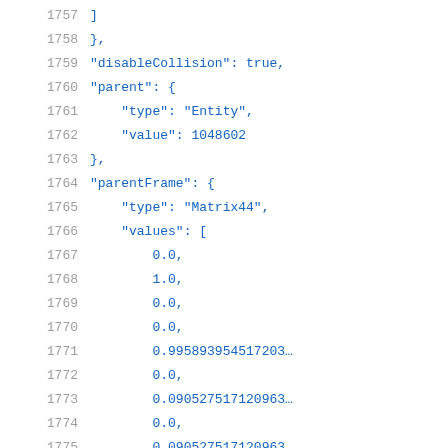Code listing lines 1757-1779 showing JSON data with disableCollision, parent, parentFrame fields including Matrix44 values array